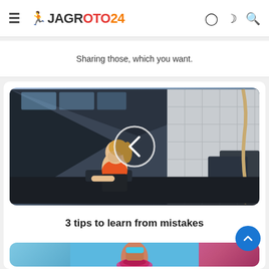≡ 🏃 JAGROTO24 [user icon] [moon icon] [search icon]
Sharing those, which you want.
[Figure (photo): Woman athlete in a gym sitting on a box, wearing an orange sports bra and black pants, with a play/back arrow circle overlay in the center of the image.]
3 tips to learn from mistakes
[Figure (photo): Partial view of a person doing exercise with colorful fitness equipment, blue background.]